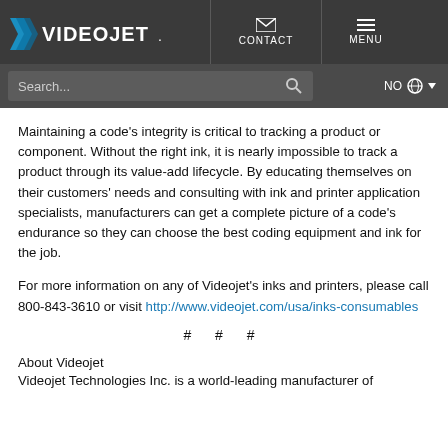VIDEOJET | CONTACT | MENU
Search... NO
Maintaining a code's integrity is critical to tracking a product or component. Without the right ink, it is nearly impossible to track a product through its value-add lifecycle. By educating themselves on their customers' needs and consulting with ink and printer application specialists, manufacturers can get a complete picture of a code's endurance so they can choose the best coding equipment and ink for the job.
For more information on any of Videojet's inks and printers, please call 800-843-3610 or visit http://www.videojet.com/usa/inks-consumables
# # #
About Videojet
Videojet Technologies Inc. is a world-leading manufacturer of